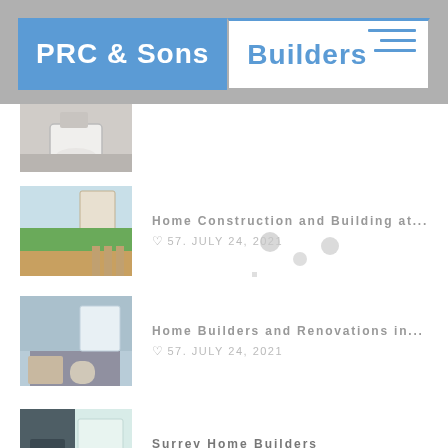PRC & Sons Builders
[Figure (photo): Thumbnail of a bathroom with toilet]
[Figure (photo): Thumbnail of a garden with grass and fence]
Home Construction and Building at...
♡ 57. JULY 24, 2021
[Figure (photo): Thumbnail of a room interior with blue walls]
Home Builders and Renovations in...
♡ 57. JULY 24, 2021
[Figure (photo): Thumbnail of a home office/bathroom]
Surrey Home Builders
♡ 57. JULY 24, 2021